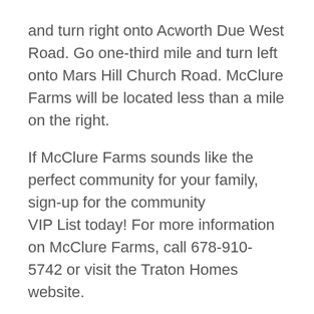and turn right onto Acworth Due West Road. Go one-third mile and turn left onto Mars Hill Church Road. McClure Farms will be located less than a mile on the right.
If McClure Farms sounds like the perfect community for your family, sign-up for the community VIP List today! For more information on McClure Farms, call 678-910-5742 or visit the Traton Homes website.
← Previous Post    Next Post →